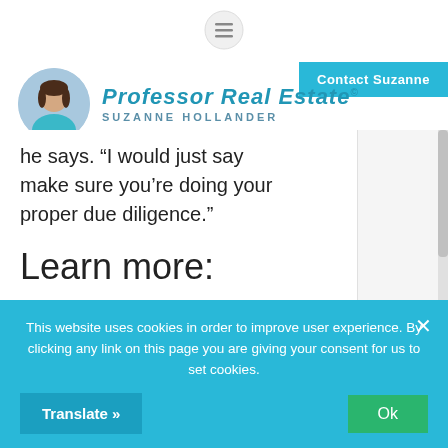[Figure (other): Hamburger menu icon (three horizontal lines) at top center of page header]
Contact Suzanne
[Figure (logo): Professor Real Estate logo with circular photo of Suzanne Hollander and cursive brand name 'Professor Real Estate' with tagline 'SUZANNE HOLLANDER']
he says. “I would just say make sure you’re doing your proper due diligence.”
Learn more:
A quicker
This website uses cookies in order to improve user experience. By clicking any link on this page you are giving your consent for us to set cookies.
Translate »
Ok